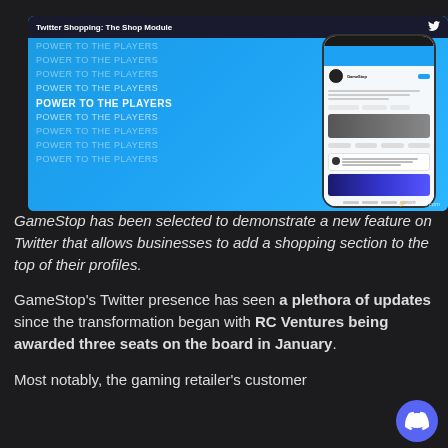[Figure (screenshot): Twitter Shopping: The Shop Module screenshot showing GameStop Twitter profile with 'POWER TO THE PLAYERS' watermark text and a phone mockup displaying the Twitter shop feature. GMEdd.com watermark visible.]
GameStop has been selected to demonstrate a new feature on Twitter that allows businesses to add a shopping section to the top of their profiles.
GameStop's Twitter presence has seen a plethora of updates since the transformation began with RC Ventures being awarded three seats on the board in January.
Most notably, the gaming retailer's customer